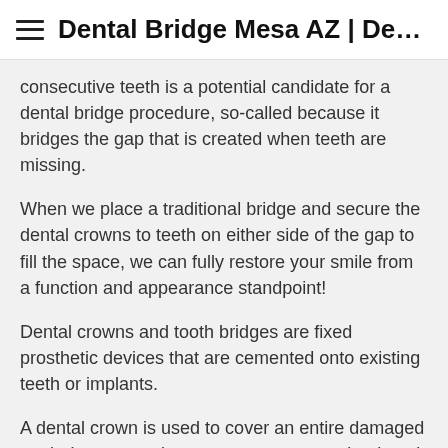Dental Bridge Mesa AZ | Dent…
consecutive teeth is a potential candidate for a dental bridge procedure, so-called because it bridges the gap that is created when teeth are missing.
When we place a traditional bridge and secure the dental crowns to teeth on either side of the gap to fill the space, we can fully restore your smile from a function and appearance standpoint!
Dental crowns and tooth bridges are fixed prosthetic devices that are cemented onto existing teeth or implants.
A dental crown is used to cover an entire damaged tooth. In our practice we may recommend a dental crown procedure to:
Restore a fractured tooth
Replace a large filling when there is an insufficient remaining tooth